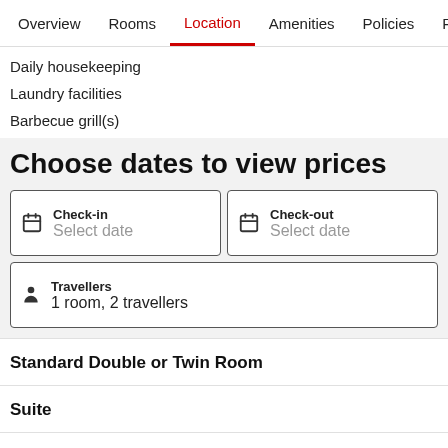Overview   Rooms   Location   Amenities   Policies   Reviews
Daily housekeeping
Laundry facilities
Barbecue grill(s)
Choose dates to view prices
Check-in
Select date
Check-out
Select date
Travellers
1 room, 2 travellers
Standard Double or Twin Room
Suite